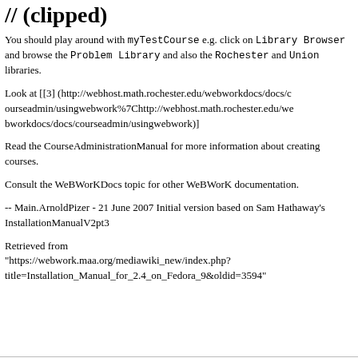// (clipped title text)
You should play around with myTestCourse e.g. click on Library Browser and browse the Problem Library and also the Rochester and Union libraries.
Look at [[3] (http://webhost.math.rochester.edu/webworkdocs/docs/courseadmin/usingwebwork%7Chttp://webhost.math.rochester.edu/webworkdocs/docs/courseadmin/usingwebwork)]
Read the CourseAdministrationManual for more information about creating courses.
Consult the WeBWorKDocs topic for other WeBWorK documentation.
-- Main.ArnoldPizer - 21 June 2007 Initial version based on Sam Hathaway's InstallationManualV2pt3
Retrieved from "https://webwork.maa.org/mediawiki_new/index.php?title=Installation_Manual_for_2.4_on_Fedora_9&oldid=3594"